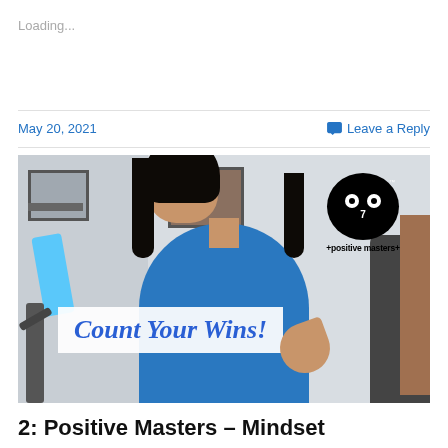Loading...
May 20, 2021
Leave a Reply
[Figure (photo): A man in a blue t-shirt with long black hair gesturing with his hand in a room. A white overlay box reads 'Count Your Wins!' in italic blue text. In the upper right corner is the +positive masters+ logo: a black circle with two eyes and the number 7.]
2: Positive Masters – Mindset